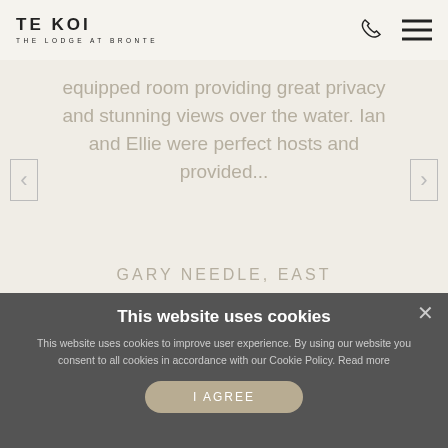TE KOI THE LODGE AT BRONTE
equipped room providing great privacy and stunning views over the water. Ian and Ellie were perfect hosts and provided...
GARY NEEDLE, EAST
This website uses cookies
This website uses cookies to improve user experience. By using our website you consent to all cookies in accordance with our Cookie Policy. Read more
I AGREE